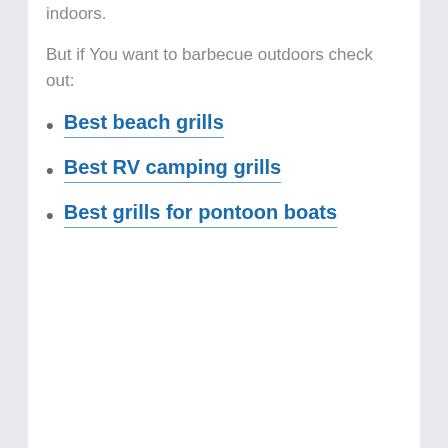indoors.
But if You want to barbecue outdoors check out:
Best beach grills
Best RV camping grills
Best grills for pontoon boats